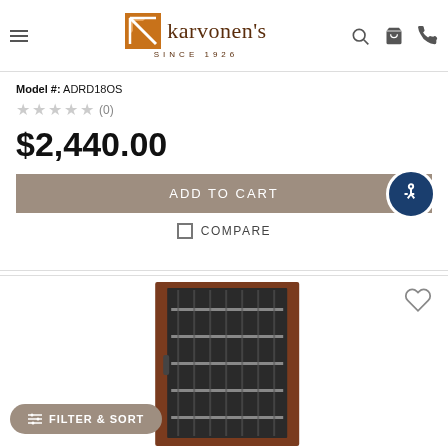Karvonen's Since 1926
Model #: ADRD18OS
★★★★★ (0)
$2,440.00
ADD TO CART
COMPARE
[Figure (photo): Product photo showing an appliance with metal racks and dark cabinet/door frame]
FILTER & SORT